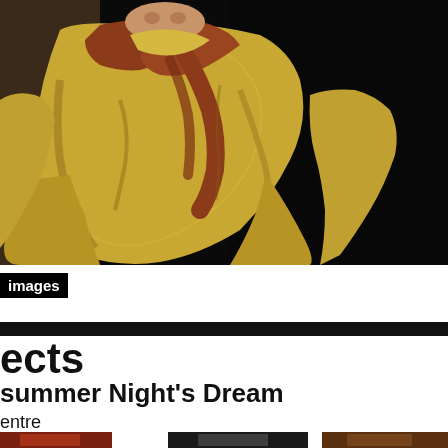[Figure (photo): Theatre performance photo: actor in flowing golden/tan robes with reddish-brown scarf, photographed against a dark black background, upper body visible]
images
ects
summer Night's Dream
entre
[Figure (photo): Small thumbnail theatre performance photo with warm orange/red tones]
[Figure (photo): Small thumbnail theatre performance photo with dark tones showing a figure]
[Figure (photo): Small thumbnail theatre performance photo with warm tones]